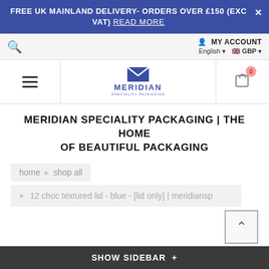FREE UK MAINLAND DELIVERY- ORDERS OVER £150 (EXC VAT) READ MORE
🔍  MY ACCOUNT  English ▾  🇬🇧 GBP ▾
[Figure (logo): Meridian Speciality Packaging logo with envelope icon]
MERIDIAN SPECIALITY PACKAGING | THE HOME OF BEAUTIFUL PACKAGING
home ▶ shop all
▶ 12 choc textured lid - blue - [lid only] | meridiansp
SHOW SIDEBAR +